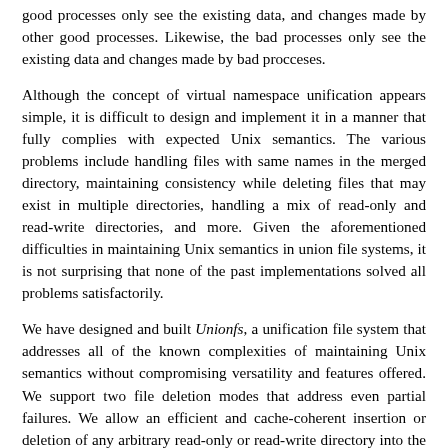good processes only see the existing data, and changes made by other good processes. Likewise, the bad processes only see the existing data and changes made by bad procceses.
Although the concept of virtual namespace unification appears simple, it is difficult to design and implement it in a manner that fully complies with expected Unix semantics. The various problems include handling files with same names in the merged directory, maintaining consistency while deleting files that may exist in multiple directories, handling a mix of read-only and read-write directories, and more. Given the aforementioned difficulties in maintaining Unix semantics in union file systems, it is not surprising that none of the past implementations solved all problems satisfactorily.
We have designed and built Unionfs, a unification file system that addresses all of the known complexities of maintaining Unix semantics without compromising versatility and features offered. We support two file deletion modes that address even partial failures. We allow an efficient and cache-coherent insertion or deletion of any arbitrary read-only or read-write directory into the union. Unionfs also includes efficient in-kernel handling of files with the same name; a careful design that minimizes data movement across branches; several modes for permission inheritance; and support for snapshots and sandboxing. We compare Unionfs's features with past alternatives and show that Unionfs provides more features and has useful features from